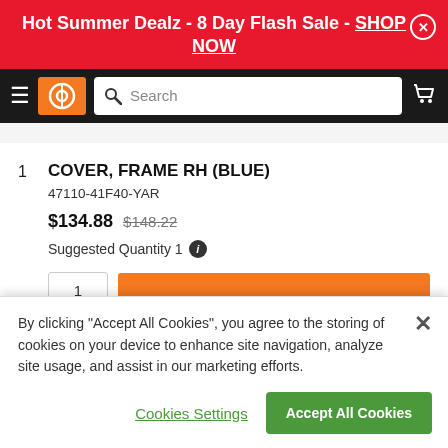Hot Summer Dealz - 8 Day Flash Sale - SHOP NOW
[Figure (screenshot): E-commerce navigation bar with hamburger menu, orange logo icon, search box, and cart icon on dark background]
1  COVER, FRAME RH (BLUE)  47110-41F40-YAR  $134.88  $148.22  Suggested Quantity 1
By clicking "Accept All Cookies", you agree to the storing of cookies on your device to enhance site navigation, analyze site usage, and assist in our marketing efforts.
Cookies Settings  Accept All Cookies